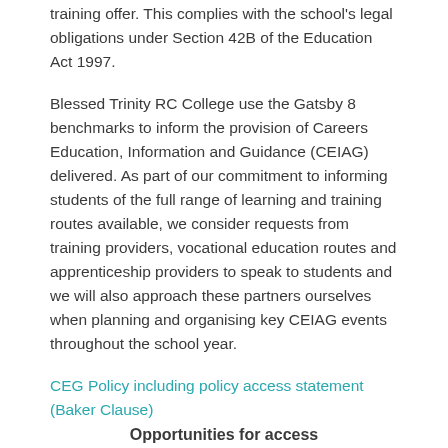training offer. This complies with the school's legal obligations under Section 42B of the Education Act 1997.
Blessed Trinity RC College use the Gatsby 8 benchmarks to inform the provision of Careers Education, Information and Guidance (CEIAG) delivered. As part of our commitment to informing students of the full range of learning and training routes available, we consider requests from training providers, vocational education routes and apprenticeship providers to speak to students and we will also approach these partners ourselves when planning and organising key CEIAG events throughout the school year.
CEG Policy including policy access statement (Baker Clause)
Opportunities for access